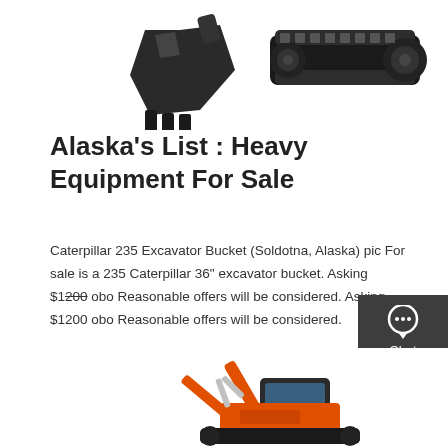[Figure (photo): Excavator bucket and track undercarriage parts on white background]
Alaska's List : Heavy Equipment For Sale
Caterpillar 235 Excavator Bucket (Soldotna, Alaska) pic For sale is a 235 Caterpillar 36" excavator bucket. Asking $1200 obo Reasonable offers will be considered. Asking $1200 obo Reasonable offers will be considered.
[Figure (illustration): Sidebar with Chat, Email, and Contact icons on dark grey background]
Get a quote
[Figure (photo): Orange Kubota mini excavator on white background]